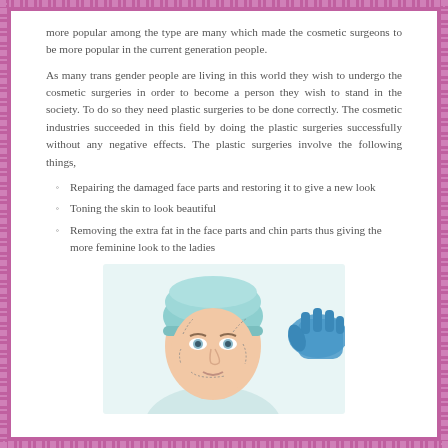more popular among the type are many which made the cosmetic surgeons to be more popular in the current generation people.
As many trans gender people are living in this world they wish to undergo the cosmetic surgeries in order to become a person they wish to stand in the society. To do so they need plastic surgeries to be done correctly. The cosmetic industries succeeded in this field by doing the plastic surgeries successfully without any negative effects. The plastic surgeries involve the following things,
Repairing the damaged face parts and restoring it to give a new look
Toning the skin to look beautiful
Removing the extra fat in the face parts and chin parts thus giving the more feminine look to the ladies
[Figure (photo): A woman wearing a teal surgical cap, looking forward with cosmetic surgery markings drawn on her face. A gloved blue hand is touching her temple area.]